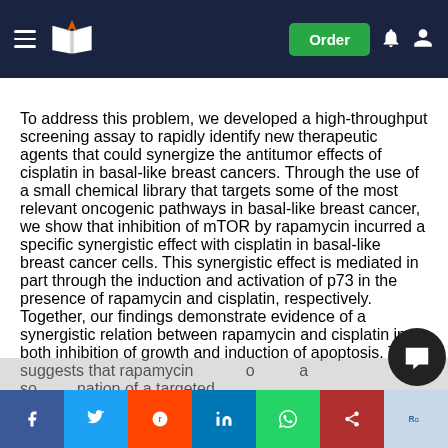Navigation bar with logo, Order button, notification and user icons
To address this problem, we developed a high-throughput screening assay to rapidly identify new therapeutic agents that could synergize the antitumor effects of cisplatin in basal-like breast cancers. Through the use of a small chemical library that targets some of the most relevant oncogenic pathways in basal-like breast cancer, we show that inhibition of mTOR by rapamycin incurred a specific synergistic effect with cisplatin in basal-like breast cancer cells. This synergistic effect is mediated in part through the induction and activation of p73 in the presence of rapamycin and cisplatin, respectively. Together, our findings demonstrate evidence of a synergistic relation between rapamycin and cisplatin in both inhibition of growth and induction of apoptosis. This suggests that rapamycin could use as a combination of a targeted th...y...h...f...r...s...e...st